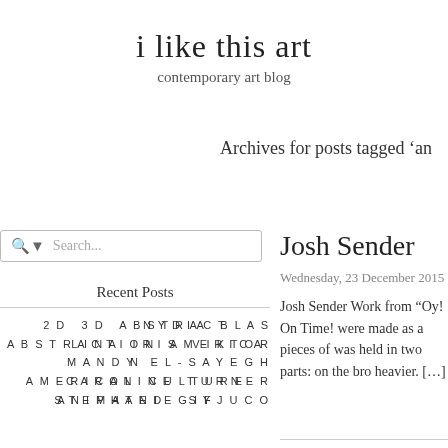i like this art
contemporary art blog
Archives for posts tagged ‘an
Search...
Recent Posts
NYDIA BLAS
LINA IRIS VIKTOR
MANDY EL-SAYEGH
CAROLINE TURNER
STEPHANIE SYJUCO
2D 3D ABSTRACT ABSTRACTION AMERICAN AMERICAN CULTURE ANIMATED GIF
Josh Sender
Wednesday, 23 December 2015
Josh Sender Work from “Oy! On Time! were made as a pieces of was held in two parts: on the bro heavier. […]